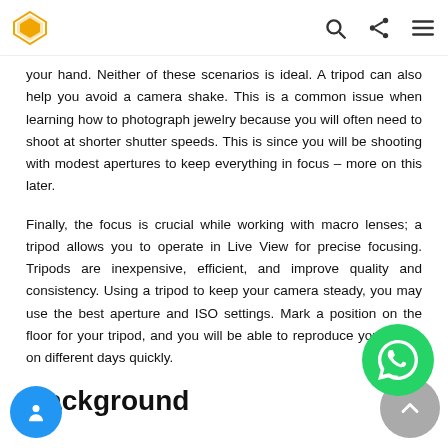[Logo] [Search] [Share] [Menu]
your hand. Neither of these scenarios is ideal. A tripod can also help you avoid a camera shake. This is a common issue when learning how to photograph jewelry because you will often need to shoot at shorter shutter speeds. This is since you will be shooting with modest apertures to keep everything in focus – more on this later.
Finally, the focus is crucial while working with macro lenses; a tripod allows you to operate in Live View for precise focusing. Tripods are inexpensive, efficient, and improve quality and consistency. Using a tripod to keep your camera steady, you may use the best aperture and ISO settings. Mark a position on the floor for your tripod, and you will be able to reproduce your setup on different days quickly.
Background